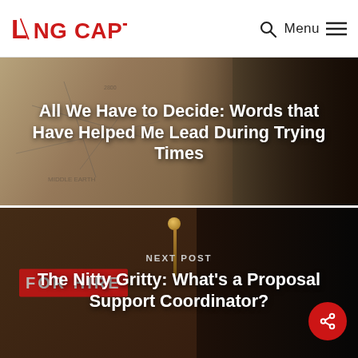LONG CAPTURE — Menu
All We Have to Decide: Words that Have Helped Me Lead During Trying Times
Next Post
The Nitty Gritty: What's a Proposal Support Coordinator?